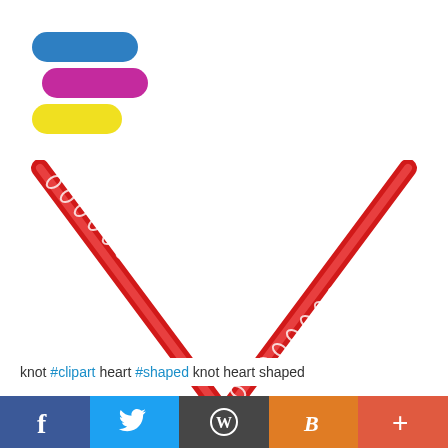[Figure (logo): Three horizontal pill/capsule shapes stacked: top is blue, middle is magenta/purple, bottom is yellow]
[Figure (illustration): A red Celtic knot decorative line forming a V-shape or bottom half of a heart, pointing downward in the center of the image on white background]
knot #clipart heart #shaped knot heart shaped
[Figure (other): Social share bar with 5 buttons: Facebook (dark blue), Twitter (light blue), WordPress (dark gray), Blogger (orange), Plus/more (red-orange)]